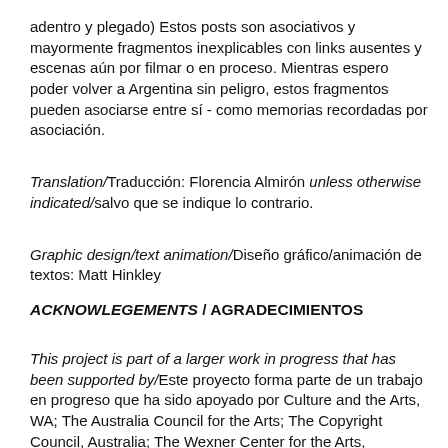adentro y plegado) Estos posts son asociativos y mayormente fragmentos inexplicables con links ausentes y escenas aún por filmar o en proceso. Mientras espero poder volver a Argentina sin peligro, estos fragmentos pueden asociarse entre sí - como memorias recordadas por asociación.
Translation/Traducción: Florencia Almirón unless otherwise indicated/salvo que se indique lo contrario.
Graphic design/text animation/Diseño gráfico/animación de textos: Matt Hinkley
ACKNOWLEGEMENTS / AGRADECIMIENTOS
This project is part of a larger work in progress that has been supported by/Este proyecto forma parte de un trabajo en progreso que ha sido apoyado por Culture and the Arts, WA; The Australia Council for the Arts; The Copyright Council, Australia; The Wexner Center for the Arts, Columbus, USA; Associação Cultural Videobrasil; CBK, Rotterdam; Prototype; and Laurel and Brett Nannup.